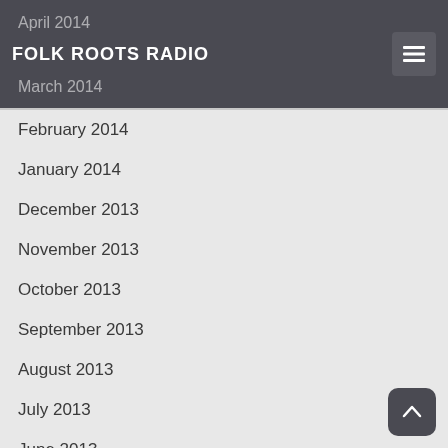Folk Roots Radio
April 2014
March 2014
February 2014
January 2014
December 2013
November 2013
October 2013
September 2013
August 2013
July 2013
June 2013
May 2013
April 2013
February 2013
January 2013
November 2012
October 2012